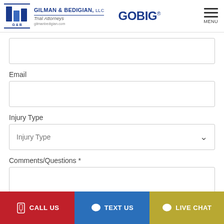[Figure (logo): Gilman & Bedigian, LLC Trial Attorneys logo with G&B icon and GoBig text]
Email
Injury Type
Comments/Questions *
CALL US
TEXT US
LIVE CHAT